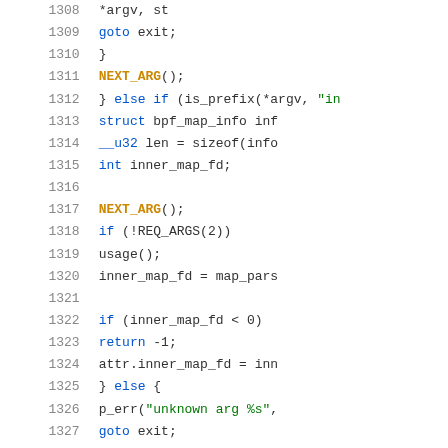Source code listing, lines 1308-1328, C programming language